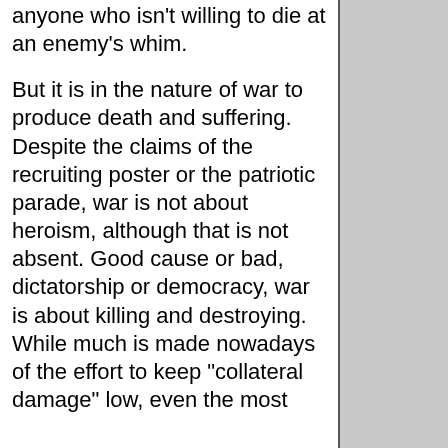anyone who isn't willing to die at an enemy's whim.
But it is in the nature of war to produce death and suffering. Despite the claims of the recruiting poster or the patriotic parade, war is not about heroism, although that is not absent. Good cause or bad, dictatorship or democracy, war is about killing and destroying. While much is made nowadays of the effort to keep "collateral damage" low, even the most